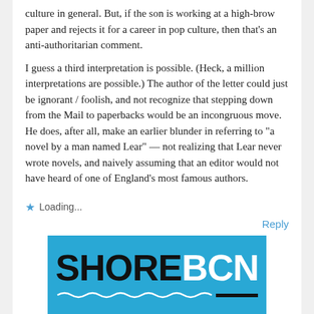culture in general. But, if the son is working at a high-brow paper and rejects it for a career in pop culture, then that’s an anti-authoritarian comment.
I guess a third interpretation is possible. (Heck, a million interpretations are possible.) The author of the letter could just be ignorant / foolish, and not recognize that stepping down from the Mail to paperbacks would be an incongruous move. He does, after all, make an earlier blunder in referring to “a novel by a man named Lear” — not realizing that Lear never wrote novels, and naively assuming that an editor would not have heard of one of England’s most famous authors.
Loading...
Reply
[Figure (logo): SHORE BCN logo on blue background with wave decoration and black underline bar]